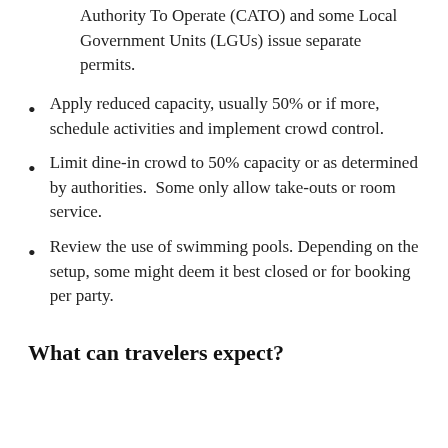Authority To Operate (CATO) and some Local Government Units (LGUs) issue separate permits.
Apply reduced capacity, usually 50% or if more, schedule activities and implement crowd control.
Limit dine-in crowd to 50% capacity or as determined by authorities.  Some only allow take-outs or room service.
Review the use of swimming pools. Depending on the setup, some might deem it best closed or for booking per party.
What can travelers expect?